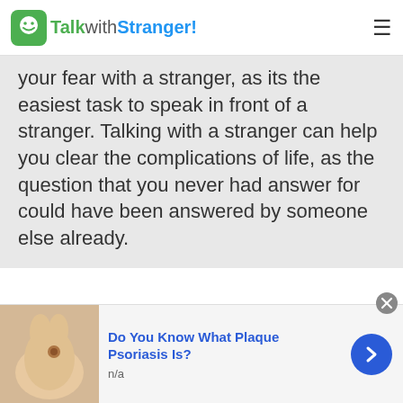TalkwithStranger!
your fear with a stranger, as its the easiest task to speak in front of a stranger. Talking with a stranger can help you clear the complications of life, as the question that you never had answer for could have been answered by someone else already.
Cameroonian Chats
[Figure (screenshot): Advertisement banner: image of a hand/skin with text 'Do You Know What Plaque Psoriasis Is?' and subtitle 'n/a', with a blue arrow button and close (x) button.]